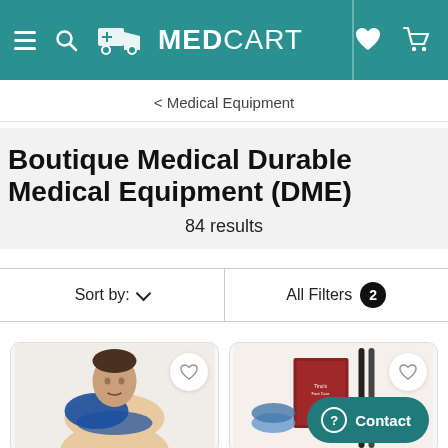[Figure (screenshot): MedCart website header with teal background, hamburger menu, search icon, MedCart logo with delivery truck icon, heart/wishlist icon, and shopping cart icon]
< Medical Equipment
Boutique Medical Durable Medical Equipment (DME)
84 results
Sort by: ∨
All Filters 2
[Figure (photo): Man wearing a blue shoulder support brace on white background with wishlist heart button]
[Figure (photo): Product image showing foot care items with leopard print packaging and walking aids, with wishlist heart button and Contact button overlay]